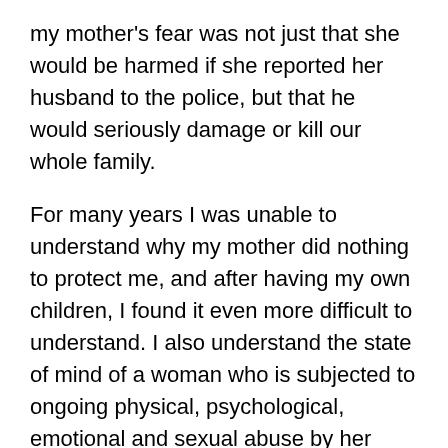my mother's fear was not just that she would be harmed if she reported her husband to the police, but that he would seriously damage or kill our whole family.
For many years I was unable to understand why my mother did nothing to protect me, and after having my own children, I found it even more difficult to understand. I also understand the state of mind of a woman who is subjected to ongoing physical, psychological, emotional and sexual abuse by her partner, and that one of the consequences of this is an inability to take any positive action at all. Obviously, this state of mind is not easily understood by people who have never experienced it, hence the all too familiar question, why doesn't she just leave?
Much as I still struggle with having been unprotected by my mother, I can image little worse than her being charged